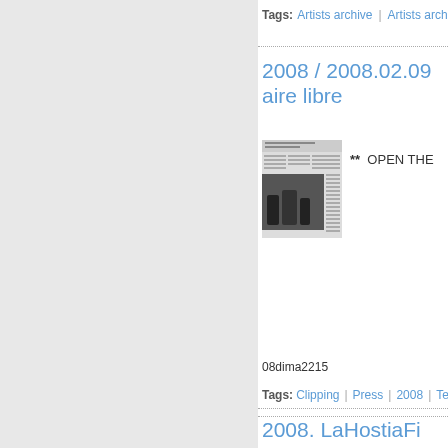Tags: Artists archive | Artists archive
2008 / 2008.02.09 aire libre
[Figure (photo): Newspaper clipping thumbnail showing black and white concert/performance photo with Spanish text header 'Una galeria de arte al aire libre']
** OPEN THE
08dima2215
Tags: Clipping | Press | 2008 | Te
2008. LaHostiaFi